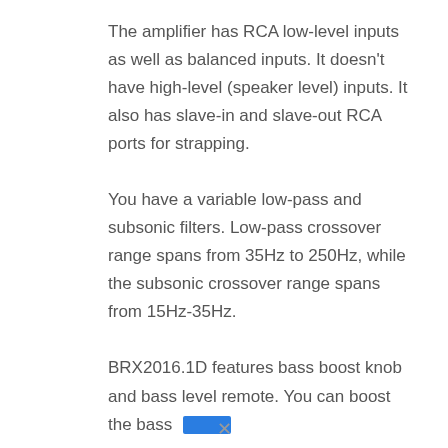The amplifier has RCA low-level inputs as well as balanced inputs. It doesn't have high-level (speaker level) inputs. It also has slave-in and slave-out RCA ports for strapping.
You have a variable low-pass and subsonic filters. Low-pass crossover range spans from 35Hz to 250Hz, while the subsonic crossover range spans from 15Hz-35Hz.
BRX2016.1D features bass boost knob and bass level remote. You can boost the bass [blue bar indicator]